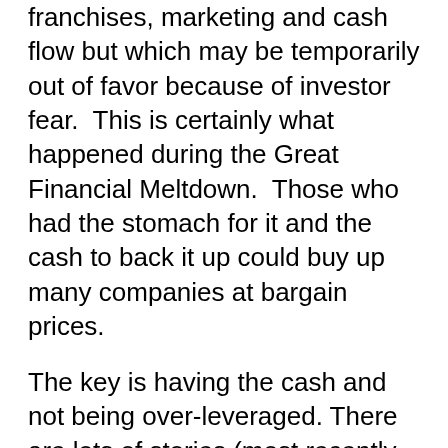franchises, marketing and cash flow but which may be temporarily out of favor because of investor fear.  This is certainly what happened during the Great Financial Meltdown.  Those who had the stomach for it and the cash to back it up could buy up many companies at bargain prices.
The key is having the cash and not being over-leveraged. There are lots of stories (most recently in BusinessWeek) about developers who are mortgaged to the hilt and unable to maneuver now as they are caught in a foreclosure squeeze.   Liquidity is really the key to crises.
If you have the cash and the stomach for the risks, you can buy into distressed areas of the market: tax liens, providing capital as a loan with equity kicker to an operating business that may be short of cash because banks are too timid to lend, real estate to